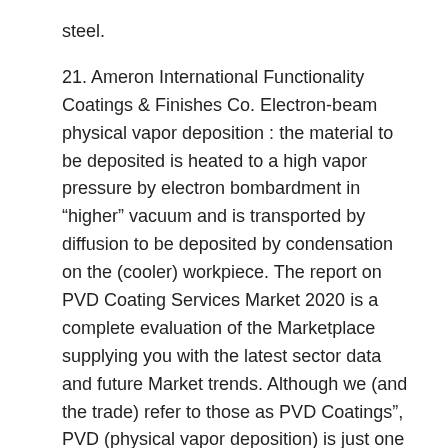steel.
21. Ameron International Functionality Coatings & Finishes Co. Electron-beam physical vapor deposition : the material to be deposited is heated to a high vapor pressure by electron bombardment in “higher” vacuum and is transported by diffusion to be deposited by condensation on the (cooler) workpiece. The report on PVD Coating Services Market 2020 is a complete evaluation of the Marketplace supplying you with the latest sector data and future Market trends. Although we (and the trade) refer to those as PVD Coatings”, PVD (physical vapor deposition) is just one particular of a number of processes that are utilized in thin-movie deposition applications. Sputtering is an really flexible coating method that can be employed to coat virtually any material. Somta Tools have invested in a USA-developed and manufactured PerformCoat PfC540